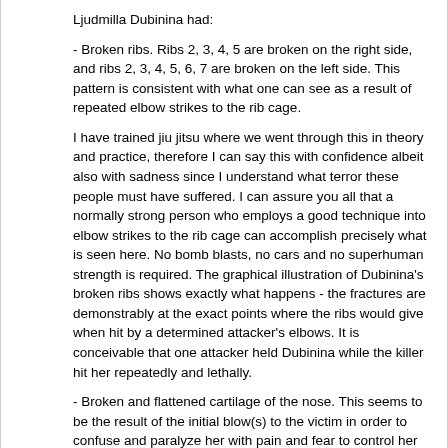Ljudmilla Dubinina had:
- Broken ribs. Ribs 2, 3, 4, 5 are broken on the right side, and ribs 2, 3, 4, 5, 6, 7 are broken on the left side. This pattern is consistent with what one can see as a result of repeated elbow strikes to the rib cage.
I have trained jiu jitsu where we went through this in theory and practice, therefore I can say this with confidence albeit also with sadness since I understand what terror these people must have suffered. I can assure you all that a normally strong person who employs a good technique into elbow strikes to the rib cage can accomplish precisely what is seen here. No bomb blasts, no cars and no superhuman strength is required. The graphical illustration of Dubinina's broken ribs shows exactly what happens - the fractures are demonstrably at the exact points where the ribs would give when hit by a determined attacker's elbows. It is conceivable that one attacker held Dubinina while the killer hit her repeatedly and lethally.
- Broken and flattened cartilage of the nose. This seems to be the result of the initial blow(s) to the victim in order to confuse and paralyze her with pain and fear to control her to administer the actual killing blows.
- Bruise in the middle left thigh, size 10x5 cm.